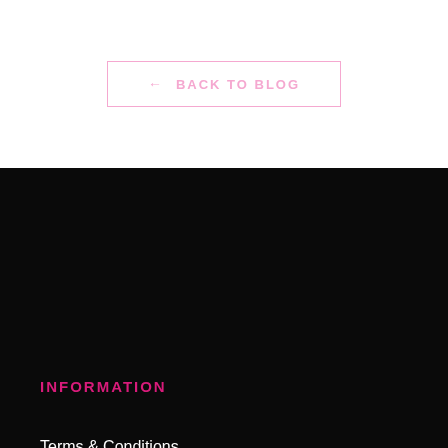← BACK TO BLOG
INFORMATION
Terms & Conditions
Shipping Information
Return Policy
CUSTOMER CARE